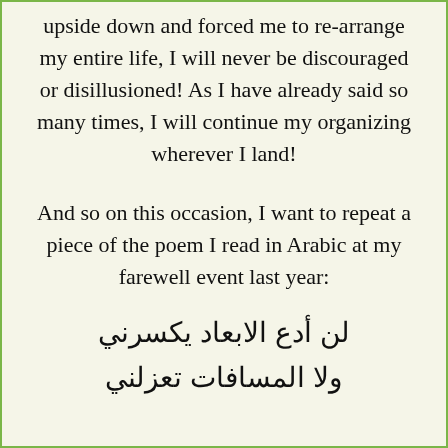upside down and forced me to re-arrange my entire life, I will never be discouraged or disillusioned! As I have already said so many times, I will continue my organizing wherever I land!
And so on this occasion, I want to repeat a piece of the poem I read in Arabic at my farewell event last year:
لن أدع الابعاد يكسرني
ولا المسافات تعزلني